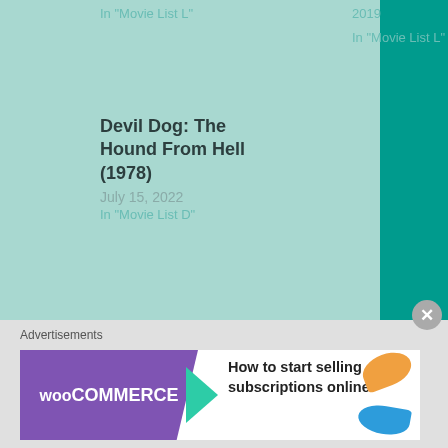In "Movie List L"
2019
In "Movie List L"
Devil Dog: The Hound From Hell (1978)
July 15, 2022
In "Movie List D"
LEAVE A REPLY
Your email address will not be published. Required fields are marked *
COMMENT *
Advertisements
[Figure (screenshot): WooCommerce advertisement banner: purple WooCommerce logo with teal arrow, text 'How to start selling subscriptions online', orange and blue decorative shapes]